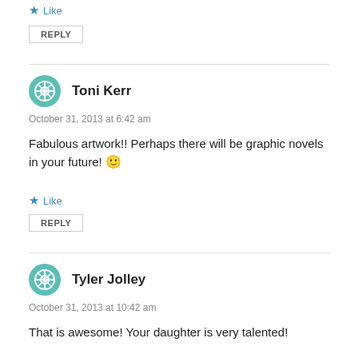★ Like
REPLY
Toni Kerr
October 31, 2013 at 6:42 am
Fabulous artwork!! Perhaps there will be graphic novels in your future! 🙂
★ Like
REPLY
Tyler Jolley
October 31, 2013 at 10:42 am
That is awesome! Your daughter is very talented!